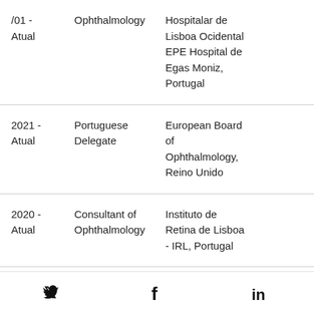/01 - Atual | Ophthalmology | Hospitalar de Lisboa Ocidental EPE Hospital de Egas Moniz, Portugal
2021 - Atual | Portuguese Delegate | European Board of Ophthalmology, Reino Unido
2020 - Atual | Consultant of Ophthalmology | Instituto de Retina de Lisboa - IRL, Portugal
2001 - Atual | Consultant of Ophthalmology | ALM, Oftalmolaser...
Twitter, Facebook, LinkedIn social icons